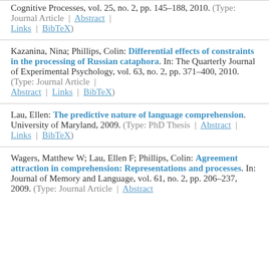Cognitive Processes, vol. 25, no. 2, pp. 145–188, 2010. (Type: Journal Article | Abstract | Links | BibTeX)
Kazanina, Nina; Phillips, Colin: Differential effects of constraints in the processing of Russian cataphora. In: The Quarterly Journal of Experimental Psychology, vol. 63, no. 2, pp. 371–400, 2010. (Type: Journal Article | Abstract | Links | BibTeX)
Lau, Ellen: The predictive nature of language comprehension. University of Maryland, 2009. (Type: PhD Thesis | Abstract | Links | BibTeX)
Wagers, Matthew W; Lau, Ellen F; Phillips, Colin: Agreement attraction in comprehension: Representations and processes. In: Journal of Memory and Language, vol. 61, no. 2, pp. 206–237, 2009. (Type: Journal Article | Abstract